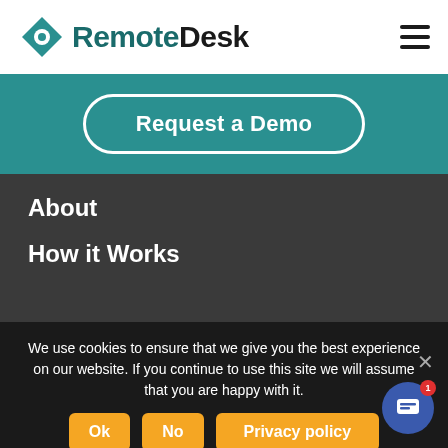[Figure (logo): RemoteDesk logo with teal diamond/eye icon and bold text]
Request a Demo
About
How it Works
We use cookies to ensure that we give you the best experience on our website. If you continue to use this site we will assume that you are happy with it.
Ok
No
Privacy policy